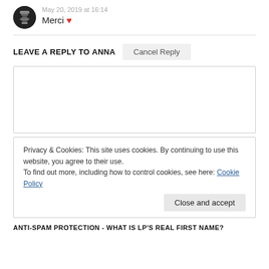May 20, 2019 at 16:14
Merci ❤
LEAVE A REPLY TO ANNA
Cancel Reply
Privacy & Cookies: This site uses cookies. By continuing to use this website, you agree to their use.
To find out more, including how to control cookies, see here: Cookie Policy
Close and accept
ANTI-SPAM PROTECTION - WHAT IS LP'S REAL FIRST NAME?